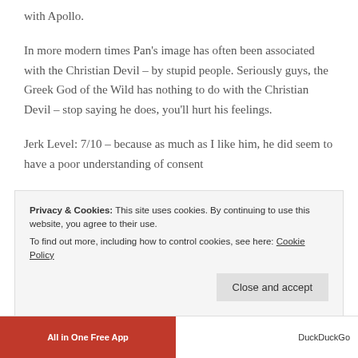with Apollo.
In more modern times Pan's image has often been associated with the Christian Devil – by stupid people. Seriously guys, the Greek God of the Wild has nothing to do with the Christian Devil – stop saying he does, you'll hurt his feelings.
Jerk Level: 7/10 – because as much as I like him, he did seem to have a poor understanding of consent
7. Hera
Privacy & Cookies: This site uses cookies. By continuing to use this website, you agree to their use.
To find out more, including how to control cookies, see here: Cookie Policy
Close and accept
All in One Free App
DuckDuckGo